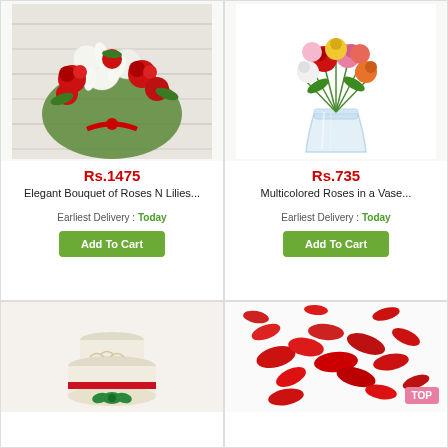[Figure (photo): Elegant bouquet of red roses and white lilies wrapped in green paper with a red ribbon, on a white wooden background]
Rs.1475
Elegant Bouquet of Roses N Lilies...
Earliest Delivery : Today
Add To Cart
[Figure (photo): Multicolored roses (red, pink, orange, yellow, white) arranged in a clear glass vase on white background]
Rs.735
Multicolored Roses in a Vase...
Earliest Delivery : Today
Add To Cart
[Figure (photo): White tiered cake with green ribbon bow decoration, partially visible at bottom of page]
[Figure (photo): Red flower petals arrangement on white background with TOP badge visible]